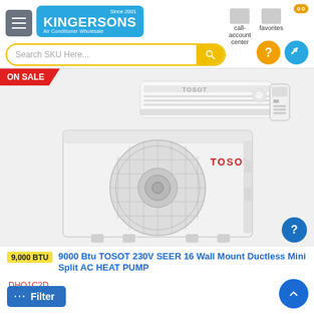[Figure (screenshot): Kingersons Air Conditioner Wholesale website header with logo, hamburger menu, search bar, call-account-center and favorites icons]
[Figure (photo): ON SALE badge with TOSOT 9000 BTU mini split AC heat pump product image showing indoor wall unit and outdoor compressor unit]
9,000 BTU  9000 Btu TOSOT 230V SEER 16 Wall Mount Ductless Mini Split AC HEAT PUMP
DHQ1C2D
Brand: TOSOT